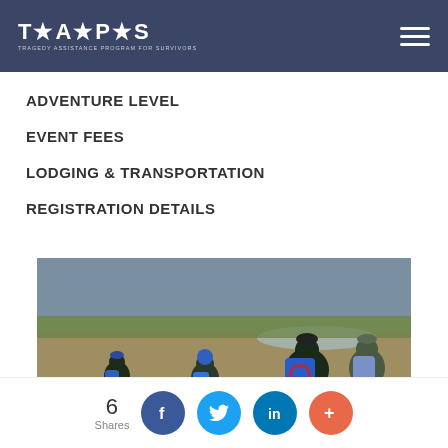TAPS — Tragedy Assistance Program for Survivors (navigation header with hamburger menu)
ADVENTURE LEVEL
EVENT FEES
LODGING & TRANSPORTATION
REGISTRATION DETAILS
[Figure (photo): Group of people on horseback riding away from camera across an open grassland/prairie landscape with hills and a river or lake in the background. Riders are wearing TAPS branded blue backpacks.]
6 Shares — Facebook, Twitter, LinkedIn, + share buttons